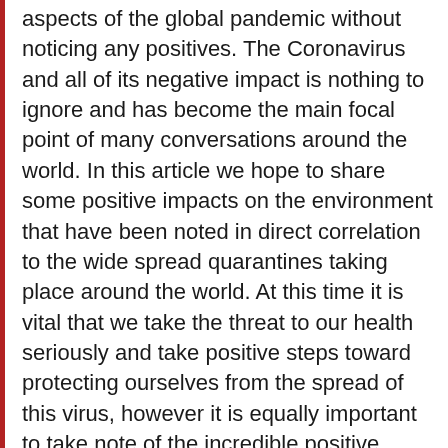aspects of the global pandemic without noticing any positives. The Coronavirus and all of its negative impact is nothing to ignore and has become the main focal point of many conversations around the world. In this article we hope to share some positive impacts on the environment that have been noted in direct correlation to the wide spread quarantines taking place around the world. At this time it is vital that we take the threat to our health seriously and take positive steps toward protecting ourselves from the spread of this virus, however it is equally important to take note of the incredible positive impacts the quarantines have had on our ecosystem. For quite possibly the first time in history, several ecosystems have had the unique opportunity to evaluate the way we impact our environment and take a close look at how the world has been able to rebound in the short time